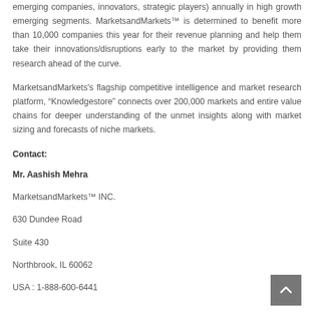emerging companies, innovators, strategic players) annually in high growth emerging segments. MarketsandMarkets™ is determined to benefit more than 10,000 companies this year for their revenue planning and help them take their innovations/disruptions early to the market by providing them research ahead of the curve.
MarketsandMarkets's flagship competitive intelligence and market research platform, “Knowledgestore” connects over 200,000 markets and entire value chains for deeper understanding of the unmet insights along with market sizing and forecasts of niche markets.
Contact:
Mr. Aashish Mehra
MarketsandMarkets™ INC.
630 Dundee Road
Suite 430
Northbrook, IL 60062
USA : 1-888-600-6441